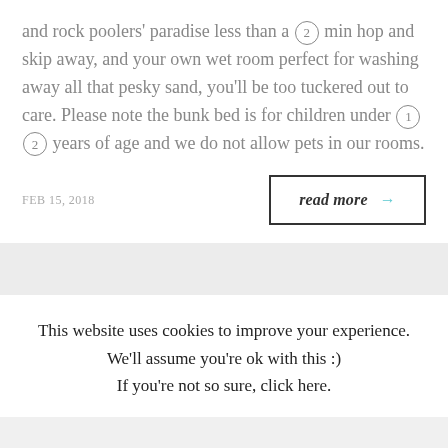and rock poolers' paradise less than a ② min hop and skip away, and your own wet room perfect for washing away all that pesky sand, you'll be too tuckered out to care. Please note the bunk bed is for children under ①② years of age and we do not allow pets in our rooms.
FEB 15, 2018
read more →
This website uses cookies to improve your experience. We'll assume you're ok with this :) If you're not so sure, click here.